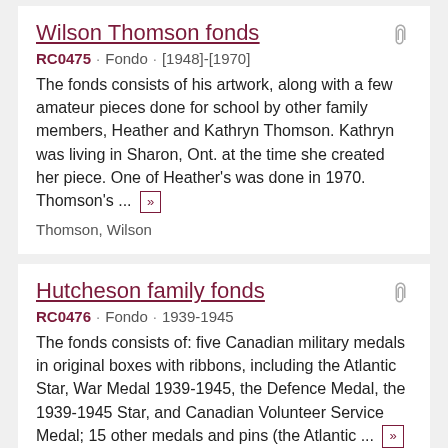Wilson Thomson fonds
RC0475 · Fondo · [1948]-[1970]
The fonds consists of his artwork, along with a few amateur pieces done for school by other family members, Heather and Kathryn Thomson. Kathryn was living in Sharon, Ont. at the time she created her piece. One of Heather's was done in 1970. Thomson's ... »
Thomson, Wilson
Hutcheson family fonds
RC0476 · Fondo · 1939-1945
The fonds consists of: five Canadian military medals in original boxes with ribbons, including the Atlantic Star, War Medal 1939-1945, the Defence Medal, the 1939-1945 Star, and Canadian Volunteer Service Medal; 15 other medals and pins (the Atlantic ... »
Hutcheson family